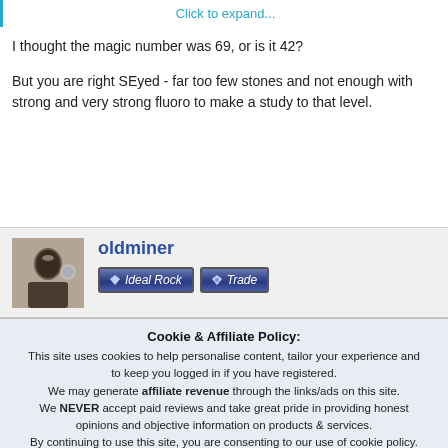Click to expand...
I thought the magic number was 69, or is it 42?
But you are right SEyed - far too few stones and not enough with strong and very strong fluoro to make a study to that level.
oldminer
[Figure (illustration): User avatar photo of oldminer, man looking through loupe]
[Figure (illustration): Two blue badges: Ideal Rock and Trade]
Cookie & Affiliate Policy: This site uses cookies to help personalise content, tailor your experience and to keep you logged in if you have registered. We may generate affiliate revenue through the links/ads on this site. We NEVER accept paid reviews and take great pride in providing honest opinions and objective information on products & services. By continuing to use this site, you are consenting to our use of cookie policy.
✓ Accept
Learn more...